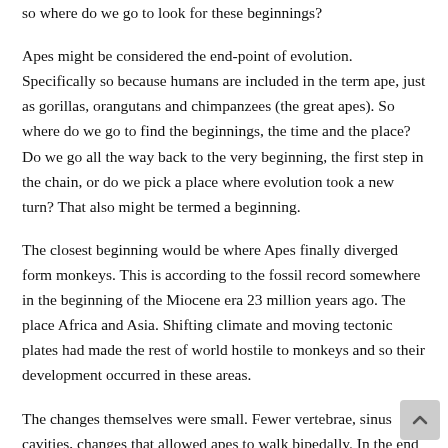so where do we go to look for these beginnings?
Apes might be considered the end-point of evolution. Specifically so because humans are included in the term ape, just as gorillas, orangutans and chimpanzees (the great apes). So where do we go to find the beginnings, the time and the place? Do we go all the way back to the very beginning, the first step in the chain, or do we pick a place where evolution took a new turn? That also might be termed a beginning.
The closest beginning would be where Apes finally diverged form monkeys. This is according to the fossil record somewhere in the beginning of the Miocene era 23 million years ago. The place Africa and Asia. Shifting climate and moving tectonic plates had made the rest of world hostile to monkeys and so their development occurred in these areas.
The changes themselves were small. Fewer vertebrae, sinus cavities, changes that allowed apes to walk bipedally. In the end this is what allowed them to live successfully on the ground.